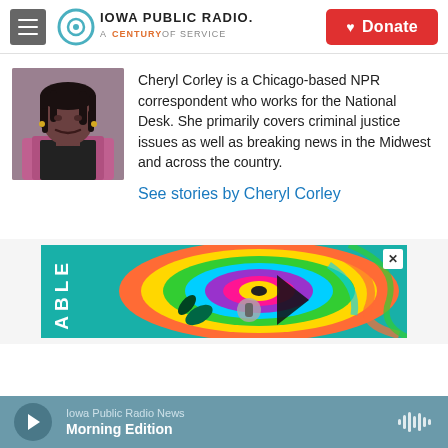Iowa Public Radio — A Century of Service | Donate
[Figure (photo): Profile photo of Cheryl Corley, a Black woman with dreadlocks, wearing a pink patterned top]
Cheryl Corley is a Chicago-based NPR correspondent who works for the National Desk. She primarily covers criminal justice issues as well as breaking news in the Midwest and across the country.
See stories by Cheryl Corley
[Figure (photo): Advertisement banner with teal background, vertical text reading 'ABLE' and colorful swirling artwork]
Iowa Public Radio News — Morning Edition